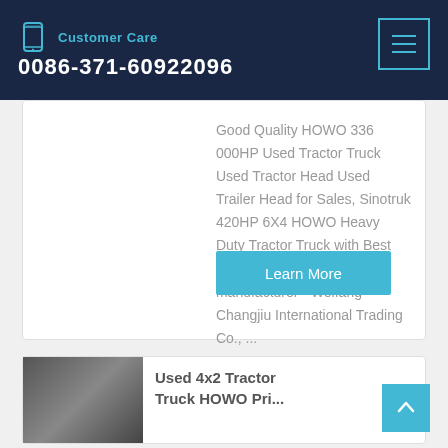Customer Care 0086-371-60922096
Good Quality HOWO 336 000HP Used Tractor Truck Used Tractor Head Used Trailer Head for Sales, Sinotruk 420HP 6X4 HOWO Heavy Duty Tractor Truck with Best Price provided by China manufacturer - Weifang Changjiu International Trading Co., ...
Learn More
Used 4x2 Tractor Truck HOWO Pri...